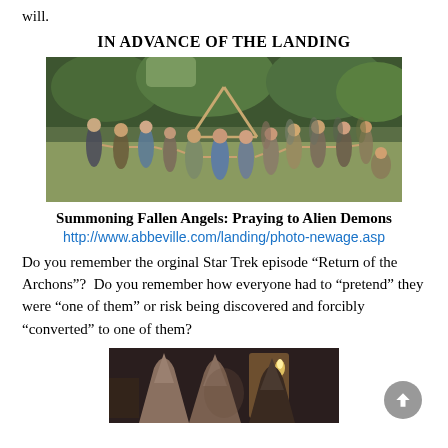will.
IN ADVANCE OF THE LANDING
[Figure (photo): Group of people standing in a circle in a forest clearing, holding hands, with a wooden triangular structure in the background.]
Summoning Fallen Angels: Praying to Alien Demons
http://www.abbeville.com/landing/photo-newage.asp
Do you remember the orginal Star Trek episode “Return of the Archons”?  Do you remember how everyone had to “pretend” they were “one of them” or risk being discovered and forcibly “converted” to one of them?
[Figure (photo): Dark scene with robed figures wearing pointed hoods, with a torch or candle visible.]